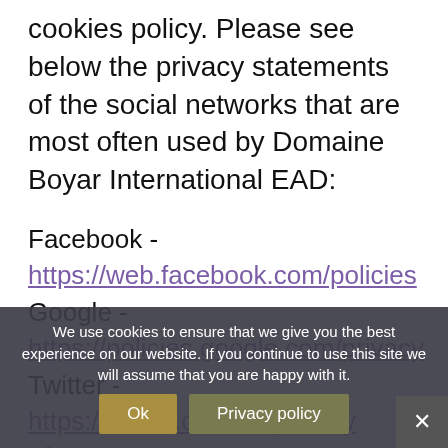cookies policy. Please see below the privacy statements of the social networks that are most often used by Domaine Boyar International EAD:
Facebook - https://web.facebook.com/policies
Google - https://policies.google.com/privacy
Twitter - https://twitter.com/en/privacy
Pinterest - https://policy.pinterest.com/en/privacy-policy
LinkedIn - https://www.linkedin.com/legal/privacy-policy
We use cookies to ensure that we give you the best experience on our website. If you continue to use this site we will assume that you are happy with it.